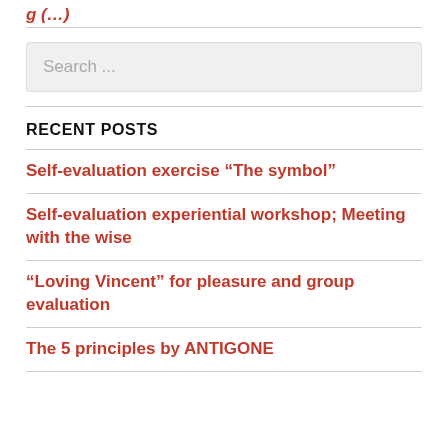[Figure (screenshot): Partial red italic text visible at the top, cut off — appears to be a page/section title in red]
[Figure (screenshot): Search input box with placeholder text 'Search ...']
RECENT POSTS
Self-evaluation exercise “The symbol”
Self-evaluation experiential workshop; Meeting with the wise
“Loving Vincent” for pleasure and group evaluation
The 5 principles by ANTIGONE